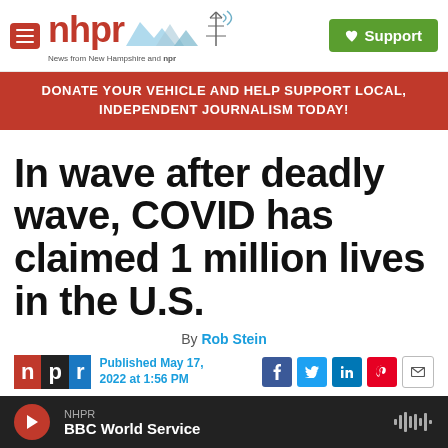[Figure (logo): NHPR logo with red hamburger menu icon, nhpr text in red, mountain/radio tower graphic, and green Support button]
DONATE YOUR VEHICLE AND HELP SUPPORT LOCAL, INDEPENDENT JOURNALISM TODAY!
In wave after deadly wave, COVID has claimed 1 million lives in the U.S.
By Rob Stein
Published May 17, 2022 at 1:56 PM
[Figure (logo): NPR logo with n in red, p in black, r in blue blocks]
[Figure (infographic): Social sharing icons: Facebook, Twitter, LinkedIn, Pinterest, Email]
NHPR BBC World Service